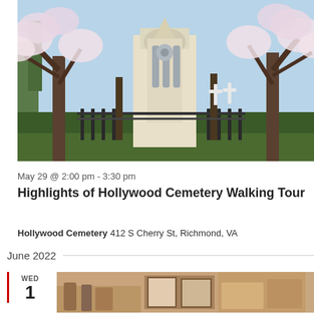[Figure (photo): Gothic cemetery monument surrounded by blooming cherry blossom trees with white flowers, crosses visible in background, iron fence in foreground, blue sky]
May 29 @ 2:00 pm - 3:30 pm
Highlights of Hollywood Cemetery Walking Tour
Hollywood Cemetery 412 S Cherry St, Richmond, VA
June 2022
[Figure (photo): Interior antique/estate sale items including figurines, framed pictures, and decorative objects on tables]
WED 1